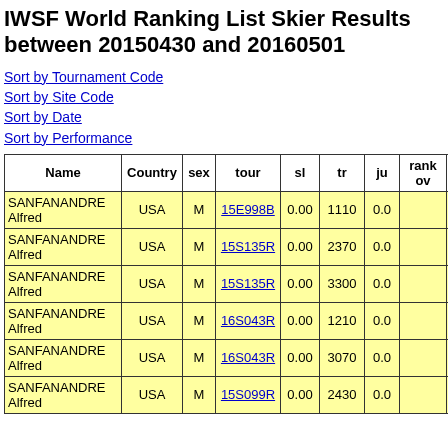IWSF World Ranking List Skier Results between 20150430 and 20160501
Sort by Tournament Code
Sort by Site Code
Sort by Date
Sort by Performance
| Name | Country | sex | tour | sl | tr | ju | rank ov | yo |
| --- | --- | --- | --- | --- | --- | --- | --- | --- |
| SANFANANDRE Alfred | USA | M | 15E998B | 0.00 | 1110 | 0.0 |  | 19 |
| SANFANANDRE Alfred | USA | M | 15S135R | 0.00 | 2370 | 0.0 |  | 19 |
| SANFANANDRE Alfred | USA | M | 15S135R | 0.00 | 3300 | 0.0 |  | 19 |
| SANFANANDRE Alfred | USA | M | 16S043R | 0.00 | 1210 | 0.0 |  | 19 |
| SANFANANDRE Alfred | USA | M | 16S043R | 0.00 | 3070 | 0.0 |  | 19 |
| SANFANANDRE Alfred | USA | M | 15S099R | 0.00 | 2430 | 0.0 |  | 19 |